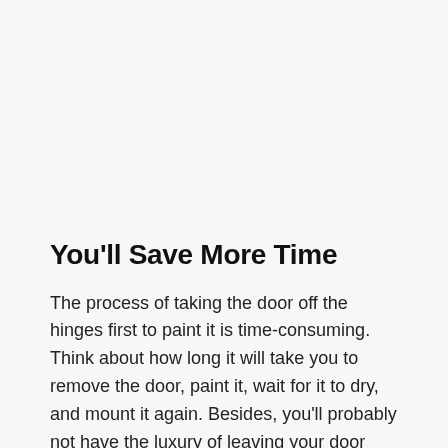You'll Save More Time
The process of taking the door off the hinges first to paint it is time-consuming. Think about how long it will take you to remove the door, paint it, wait for it to dry, and mount it again. Besides, you'll probably not have the luxury of leaving your door unhung for long. So, when you paint around the hinges, you'll work faster and also maintain your